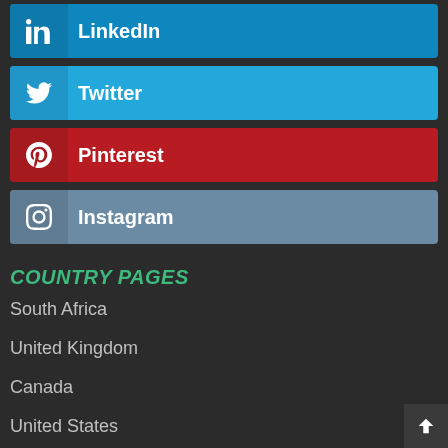LinkedIn
Twitter
Pinterest
Instagram
COUNTRY PAGES
South Africa
United Kingdom
Canada
United States